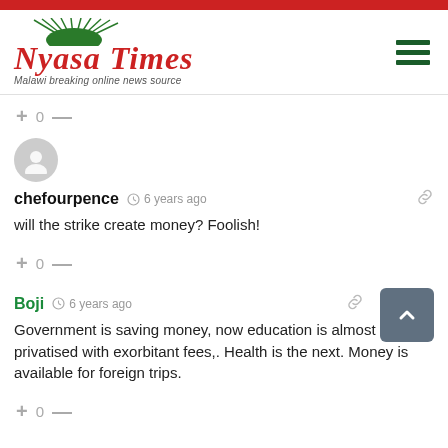[Figure (logo): Nyasa Times logo with red arc/fan graphic above text, tagline 'Malawi breaking online news source', and green hamburger menu icon on right]
+ 0 —
[Figure (illustration): Grey circular avatar/user profile placeholder icon]
chefourpence   6 years ago
will the strike create money? Foolish!
+ 0 —
Boji   6 years ago
Government is saving money, now education is almost privatised with exorbitant fees,. Health is the next. Money is available for foreign trips.
+ 0 —